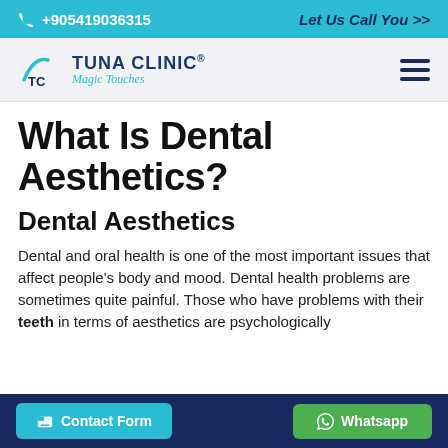+905419036315   Let Us Call You >>
[Figure (logo): Tuna Clinic logo with TC icon and 'Magic Touches' tagline]
What Is Dental Aesthetics?
Dental Aesthetics
Dental and oral health is one of the most important issues that affect people's body and mood. Dental health problems are sometimes quite painful. Those who have problems with their teeth in terms of aesthetics are psychologically
Contact Form   Whatsapp